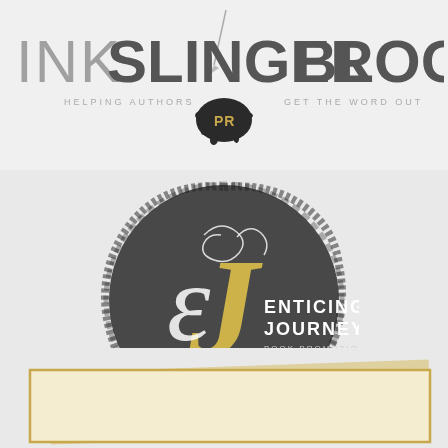[Figure (logo): InkSlinger Blogger logo with pen graphic, tagline HELPING AUTHORS and GET THE WORD OUT with PR ink splash]
[Figure (logo): Enticing Journey Book Promotions circular logo with dark brushstroke circle, stylized EJ monogram in yellow/white, and text ENTICING JOURNEY BOOK PROMOTIONS]
[Figure (other): Decorative cream/beige and gold bordered panel at bottom of page]